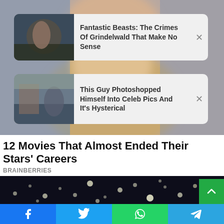[Figure (photo): Blurred portrait photo of a woman with blonde hair as background]
Fantastic Beasts: The Crimes Of Grindelwald That Make No Sense
This Guy Photoshopped Himself Into Celeb Pics And It's Hysterical
12 Movies That Almost Ended Their Stars' Careers
BRAINBERRIES
[Figure (photo): Dark photo with bokeh light spots]
[Figure (screenshot): Social share bar with Facebook, Twitter, WhatsApp, and Telegram buttons]